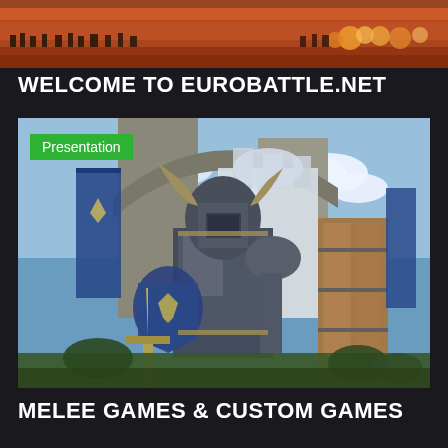[Figure (screenshot): Top banner image showing a battle scene with red desert landscape and armies]
WELCOME TO EUROBATTLE.NET
[Figure (screenshot): Warcraft III Reforged artwork showing an armored paladin knight standing in front of a castle gate with a Presentation badge overlay]
MELEE GAMES & CUSTOM GAMES